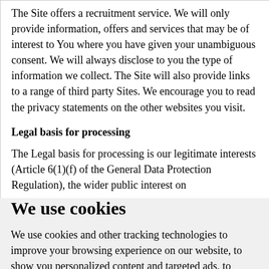The Site offers a recruitment service. We will only provide information, offers and services that may be of interest to You where you have given your unambiguous consent. We will always disclose to you the type of information we collect. The Site will also provide links to a range of third party Sites. We encourage you to read the privacy statements on the other websites you visit.
Legal basis for processing
The Legal basis for processing is our legitimate interests (Article 6(1)(f) of the General Data Protection Regulation), the wider public interest on the provision of Career Services and broader learning...
We use cookies
We use cookies and other tracking technologies to improve your browsing experience on our website, to show you personalized content and targeted ads, to analyze our website traffic, and